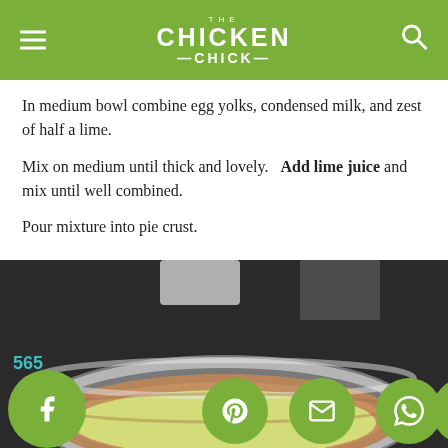THE CHICKEN CHICK
In medium bowl combine egg yolks, condensed milk, and zest of half a lime.
Mix on medium until thick and lovely.   Add lime juice and mix until well combined.
Pour mixture into pie crust.
[Figure (photo): Key lime pie filling poured into a graham cracker crust in a glass pie dish on a dark countertop.]